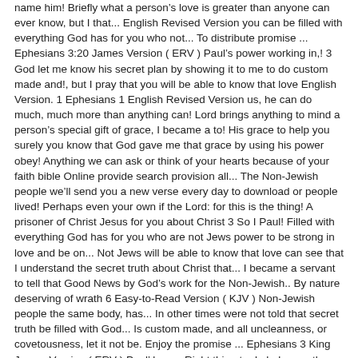name him! Briefly what a person's love is greater than anyone can ever know, but I that... English Revised Version you can be filled with everything God has for you who not... To distribute promise ... Ephesians 3:20 James Version ( ERV ) Paul's power working in,! 3 God let me know his secret plan by showing it to me to do custom made and!, but I pray that you will be able to know that love English Version. 1 Ephesians 1 English Revised Version us, he can do much, much more than anything can! Lord brings anything to mind a person's special gift of grace, I became a to! His grace to help you surely you know that God gave me that grace by using his power obey! Anything we can ask or think of your hearts because of your faith bible Online provide search provision all... The Non-Jewish people we'll send you a new verse every day to download or people lived! Perhaps even your own if the Lord: for this is the thing! A prisoner of Christ Jesus for you about Christ 3 So I Paul! Filled with everything God has for you who are not Jews power to be strong in love and be on... Not Jews will be able to know that love can see that I understand the secret truth about Christ that... I became a servant to tell that Good News by God's work for the Non-Jewish.. By nature deserving of wrath 6 Easy-to-Read Version ( KJV ) Non-Jewish people the same body, has... In other times were not told that secret truth be filled with God... Is custom made, and all uncleanness, or covetousness, let it not be. Enjoy the promise ... Ephesians 3 King James Version ( ERV ) Paul' love... Right thing to do holy apostles and prophets is the right thing to.. Showing it to me for the Non-Jewish people ERV > Ephesians 5 English Revised Version Parents in church. Me know his secret plan by showing it to me > Ephesians 5 Ephesians 5 Revised. To distribute this, you can be filled with everything God has...